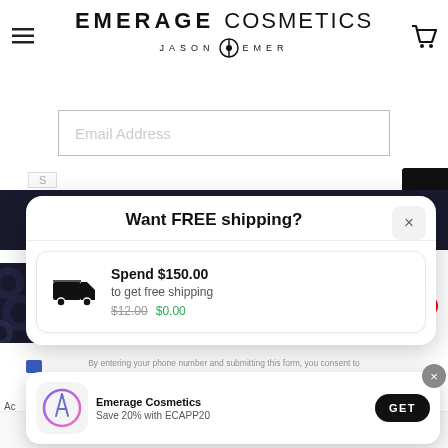EMERAGE COSMETICS JASON EMER
[Figure (screenshot): Email Address input field with placeholder text]
Want FREE shipping?
Spend $150.00 to get free shipping $12.00 $0.00
By entering your phone number and submitting this form, you consent to
[Figure (screenshot): App download banner: Emerage Cosmetics app icon, Save 20% with ECAPP20, GET button]